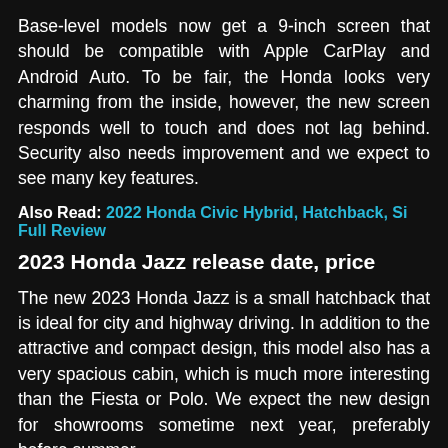Base-level models now get a 9-inch screen that should be compatible with Apple CarPlay and Android Auto. To be fair, the Honda looks very charming from the inside, however, the new screen responds well to touch and does not lag behind. Security also needs improvement and we expect to see many key features.
Also Read: 2022 Honda Civic Hybrid, Hatchback, Si Full Review
2023 Honda Jazz release date, price
The new 2023 Honda Jazz is a small hatchback that is ideal for city and highway driving. In addition to the attractive and compact design, this model also has a very spacious cabin, which is much more interesting than the Fiesta or Polo. We expect the new design for showrooms sometime next year, preferably before summer.
With a few upgrades and changes, a new car will likely cost more than before. A current Honda Jazz costs about $18,000, which is more than cheap. At